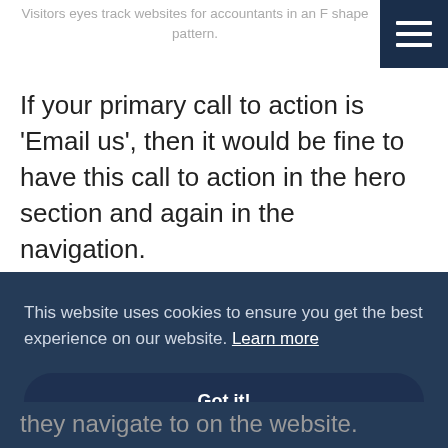Visitors eyes track websites for accountants in an F shape pattern.
If your primary call to action is 'Email us', then it would be fine to have this call to action in the hero section and again in the navigation.
This website uses cookies to ensure you get the best experience on our website. Learn more
Got it!
they navigate to on the website.